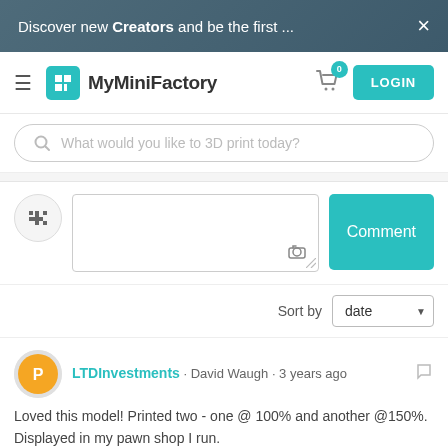Discover new Creators and be the first ... ×
[Figure (screenshot): MyMiniFactory navigation bar with hamburger menu, logo, brand name, cart icon with badge 0, and LOGIN button]
What would you like to 3D print today?
[Figure (screenshot): Comment input area with user avatar, textarea with camera icon, and Comment button]
Sort by date
LTDInvestments · David Waugh · 3 years ago
Loved this model! Printed two - one @ 100% and another @150%. Displayed in my pawn shop I run.
0 Likes